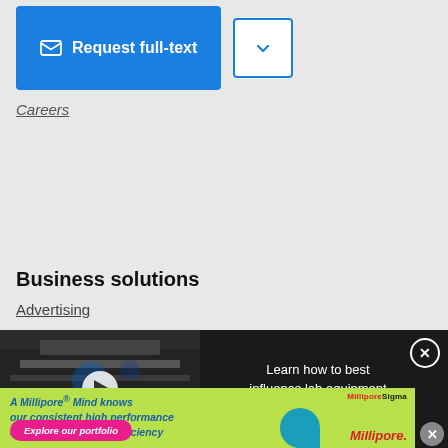Request full-text
Careers
Business solutions
Advertising
[Figure (screenshot): Video popup showing lab equipment with play button and green text overlay reading LEARN HOW TO BEST INFLUENCE LAB EQUIPMENT PURCHASING BEHAVIOR]
Learn how to best influence lab equipment purchasing behavior
[Figure (infographic): MilliporeSigma advertisement on lime green background: A Millipore® Mind knows our consistent high performance can help power your efficiency. Explore our portfolio button in pink. MilliporeSigma logo and Millipore wordmark.]